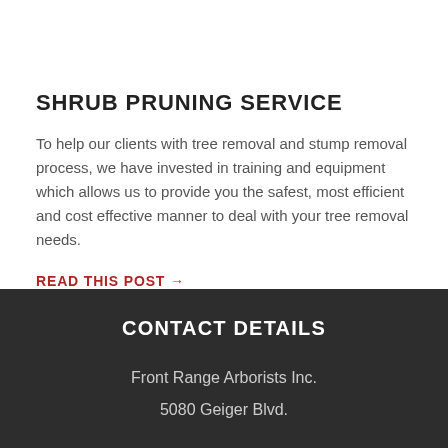SHRUB PRUNING SERVICE
To help our clients with tree removal and stump removal process, we have invested in training and equipment which allows us to provide you the safest, most efficient and cost effective manner to deal with your tree removal needs.
READ THIS POST →
CONTACT DETAILS
Front Range Arborists Inc.
5080 Geiger Blvd.